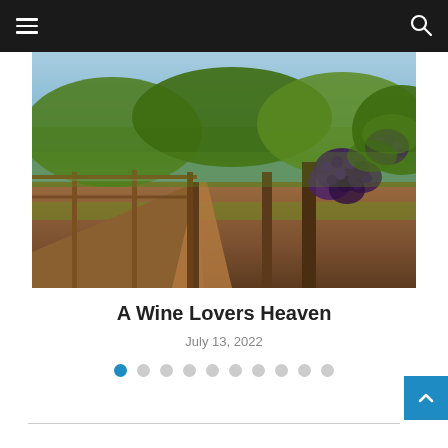Navigation bar with hamburger menu and search icon
[Figure (photo): Vineyard photograph showing rows of grapevines with clusters of dark grapes hanging from the vines, red-brown soil on the ground, green foliage overhead, and a blue sky in the background.]
A Wine Lovers Heaven
July 13, 2022